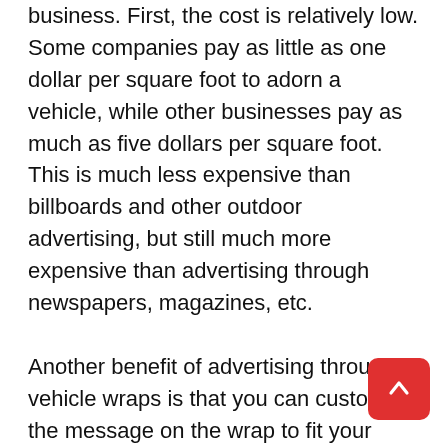business. First, the cost is relatively low. Some companies pay as little as one dollar per square foot to adorn a vehicle, while other businesses pay as much as five dollars per square foot. This is much less expensive than billboards and other outdoor advertising, but still much more expensive than advertising through newspapers, magazines, etc.
Another benefit of advertising through vehicle wraps is that you can customize the message on the wrap to fit your company's image. Many businesses like to use a funny saying, or the name of their company, or a catchy slogan that helps people remember them. The images can be anything that you want them to be. For ex…, for some companies, they may choose to use cute